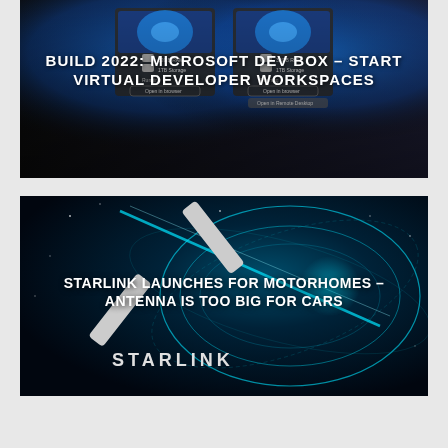[Figure (screenshot): Microsoft Dev Box screenshot showing two virtual developer workspace cards with 32GB RAM, 1TB Storage, Running status and Open in browser/Open in Remote Desktop buttons, on dark background]
BUILD 2022: MICROSOFT DEV BOX – START VIRTUAL DEVELOPER WORKSPACES
[Figure (photo): Starlink satellite dish and network diagram with glowing cyan orbital rings on dark blue background, with SpaceX Starlink logo (X mark and STARLINK text) in white]
STARLINK LAUNCHES FOR MOTORHOMES – ANTENNA IS TOO BIG FOR CARS